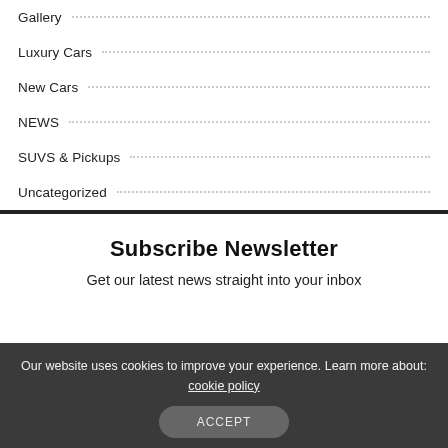Gallery
Luxury Cars
New Cars
NEWS
SUVS & Pickups
Uncategorized
Subscribe Newsletter
Get our latest news straight into your inbox
Our website uses cookies to improve your experience. Learn more about: cookie policy
ACCEPT